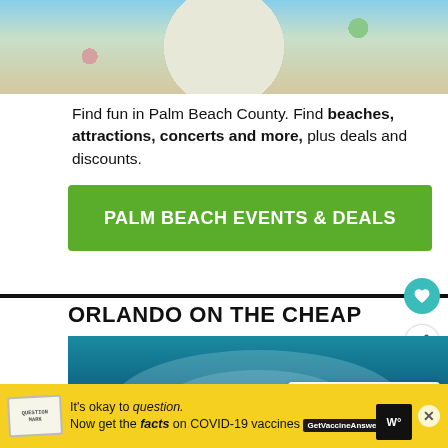[Figure (photo): Aerial or overhead view of Palm Beach County outdoor area with colorful decorations, possibly a plaza or garden with decorative elements]
Find fun in Palm Beach County. Find beaches, attractions, concerts and more, plus deals and discounts.
PALM BEACH EVENTS & DEALS
ORLANDO ON THE CHEAP
[Figure (photo): Child looking up at aquarium tunnel with colorful fish and coral visible around them]
WHAT'S NEXT → Best free & cheap thing...
It's okay to question. Now get the facts on COVID-19 vaccines GetVaccineAnswers.org